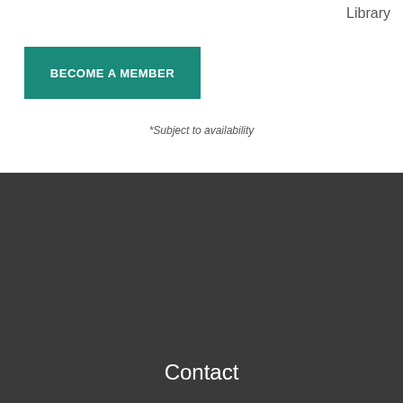Library
BECOME A MEMBER
*Subject to availability
Contact
[Figure (illustration): Gold/yellow right triangle decorative divider, wide base on left, narrow point on right]
314 W. Main St., Grass Valley, CA 95945 [map]
(530) 274-8384
boxoffice@thecenterforthearts.org
Box Office & Gallery Hours: Tuesday – Saturday, 12pm – 5pm
Facebook
Instagram